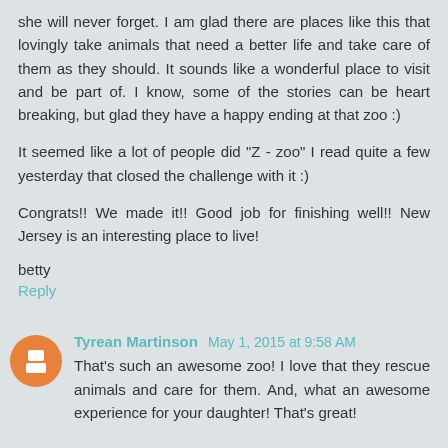she will never forget. I am glad there are places like this that lovingly take animals that need a better life and take care of them as they should. It sounds like a wonderful place to visit and be part of. I know, some of the stories can be heart breaking, but glad they have a happy ending at that zoo :)
It seemed like a lot of people did "Z - zoo" I read quite a few yesterday that closed the challenge with it :)
Congrats!! We made it!! Good job for finishing well!! New Jersey is an interesting place to live!
betty
Reply
Tyrean Martinson May 1, 2015 at 9:58 AM
That's such an awesome zoo! I love that they rescue animals and care for them. And, what an awesome experience for your daughter! That's great!